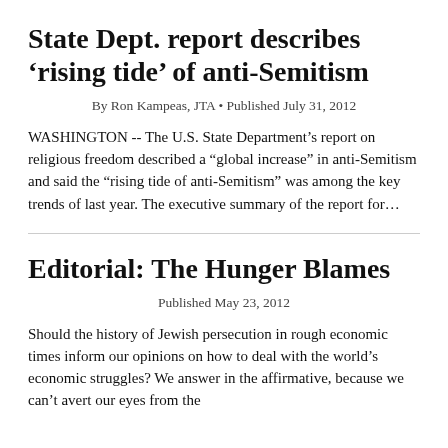State Dept. report describes ‘rising tide’ of anti-Semitism
By Ron Kampeas, JTA • Published July 31, 2012
WASHINGTON -- The U.S. State Department’s report on religious freedom described a “global increase” in anti-Semitism and said the “rising tide of anti-Semitism” was among the key trends of last year. The executive summary of the report for…
Editorial: The Hunger Blames
Published May 23, 2012
Should the history of Jewish persecution in rough economic times inform our opinions on how to deal with the world’s economic struggles? We answer in the affirmative, because we can’t avert our eyes from the